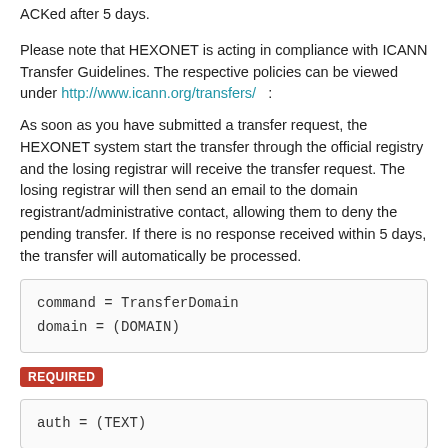ACKed after 5 days.
Please note that HEXONET is acting in compliance with ICANN Transfer Guidelines. The respective policies can be viewed under http://www.icann.org/transfers/ :
As soon as you have submitted a transfer request, the HEXONET system start the transfer through the official registry and the losing registrar will receive the transfer request. The losing registrar will then send an email to the domain registrant/administrative contact, allowing them to deny the pending transfer. If there is no response received within 5 days, the transfer will automatically be processed.
[Figure (screenshot): Code box showing: command = TransferDomain
domain = (DOMAIN)]
REQUIRED
[Figure (screenshot): Code box showing: auth = (TEXT)]
OPTIONAL
[Figure (screenshot): Code box showing: period = (PERIOD)
transferlock = 0 | 1 | (NULL)]